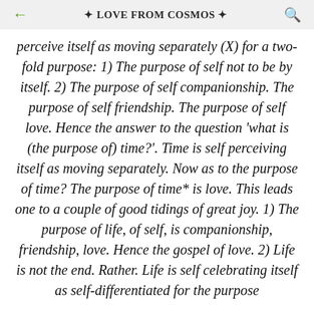← 🌿 LOVE FROM COSMOS 🌿
perceive itself as moving separately (X) for a two-fold purpose: 1) The purpose of self not to be by itself. 2) The purpose of self companionship. The purpose of self friendship. The purpose of self love. Hence the answer to the question 'what is (the purpose of) time?'. Time is self perceiving itself as moving separately. Now as to the purpose of time? The purpose of time* is love. This leads one to a couple of good tidings of great joy. 1) The purpose of life, of self, is companionship, friendship, love. Hence the gospel of love. 2) Life is not the end. Rather. Life is self celebrating itself as self-differentiated for the purpose